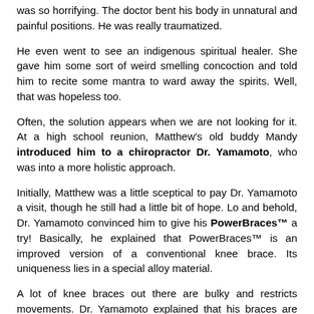was so horrifying. The doctor bent his body in unnatural and painful positions. He was really traumatized.
He even went to see an indigenous spiritual healer. She gave him some sort of weird smelling concoction and told him to recite some mantra to ward away the spirits. Well, that was hopeless too.
Often, the solution appears when we are not looking for it. At a high school reunion, Matthew's old buddy Mandy introduced him to a chiropractor Dr. Yamamoto, who was into a more holistic approach.
Initially, Matthew was a little sceptical to pay Dr. Yamamoto a visit, though he still had a little bit of hope. Lo and behold, Dr. Yamamoto convinced him to give his PowerBraces™ a try! Basically, he explained that PowerBraces™ is an improved version of a conventional knee brace. Its uniqueness lies in a special alloy material.
A lot of knee braces out there are bulky and restricts movements. Dr. Yamamoto explained that his braces are meant to mimic a normal knee so that one can walk effortlessly. Its simple engineering mechanism allows the wearer to lift and step with ease.